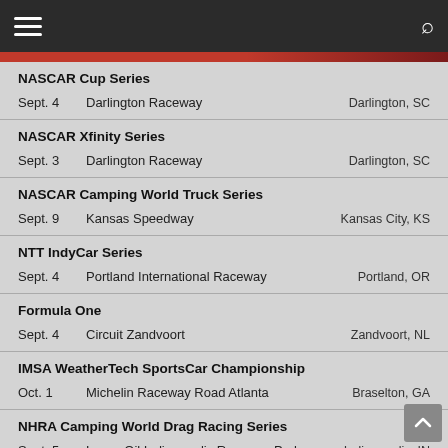NASCAR Cup Series
| Date | Venue | Location |
| --- | --- | --- |
| Sept. 4 | Darlington Raceway | Darlington, SC |
| Date | Venue | Location |
| --- | --- | --- |
| Sept. 3 | Darlington Raceway | Darlington, SC |
| Date | Venue | Location |
| --- | --- | --- |
| Sept. 9 | Kansas Speedway | Kansas City, KS |
| Date | Venue | Location |
| --- | --- | --- |
| Sept. 4 | Portland International Raceway | Portland, OR |
| Date | Venue | Location |
| --- | --- | --- |
| Sept. 4 | Circuit Zandvoort | Zandvoort, NL |
| Date | Venue | Location |
| --- | --- | --- |
| Oct. 1 | Michelin Raceway Road Atlanta | Braselton, GA |
| Date | Venue | Location |
| --- | --- | --- |
| Sept. 5 | Lucas Oil Indianapolis Raceway Park | Indianapolis, IN |
AMA Monster Energy Supercross